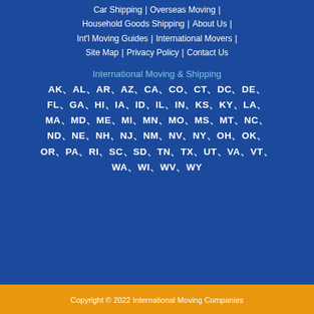Car Shipping | Overseas Moving | Household Goods Shipping | About Us | Int'l Moving Guides | International Movers | Site Map | Privacy Policy | Contact Us
International Moving & Shipping
AK, AL, AR, AZ, CA, CO, CT, DC, DE, FL, GA, HI, IA, ID, IL, IN, KS, KY, LA, MA, MD, ME, MI, MN, MO, MS, MT, NC, ND, NE, NH, NJ, NM, NV, NY, OH, OK, OR, PA, RI, SC, SD, TN, TX, UT, VA, VT, WA, WI, WV, WY
Copyright © 2022 International Moving Companies